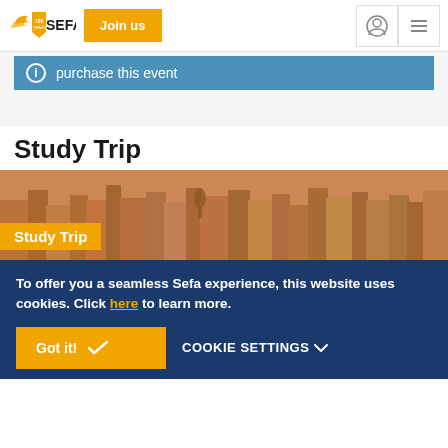SEFA — Join us
purchase this event
Study Trip
[Figure (photo): Cityscape aerial photo of Madrid with a statue and ornate buildings, overlaid with orange 'Study Trip' label]
To offer you a seamless Sefa experience, this website uses cookies. Click here to learn more.
Got it! ✔   COOKIE SETTINGS ∨